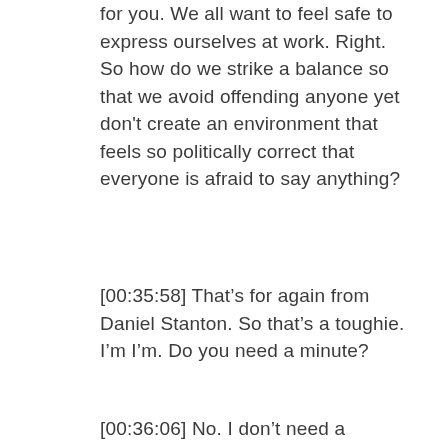for you. We all want to feel safe to express ourselves at work. Right. So how do we strike a balance so that we avoid offending anyone yet don't create an environment that feels so politically correct that everyone is afraid to say anything?
[00:35:58] That's for again from Daniel Stanton. So that's a toughie. I'm I'm. Do you need a minute?
[00:36:06] No. I don't need a